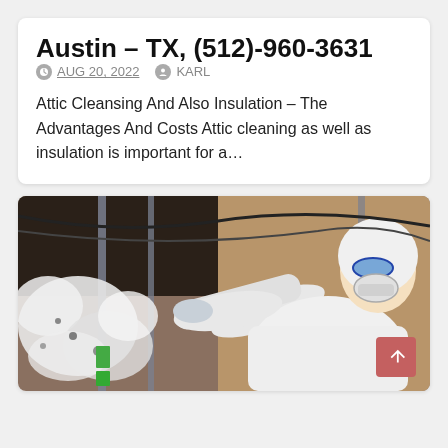Austin – TX, (512)-960-3631
AUG 20, 2022   KARL
Attic Cleansing And Also Insulation – The Advantages And Costs Attic cleaning as well as insulation is important for a…
[Figure (photo): A worker in a white protective suit, goggles, and respirator mask blowing insulation material through a large white hose inside an attic space with metal framing visible.]